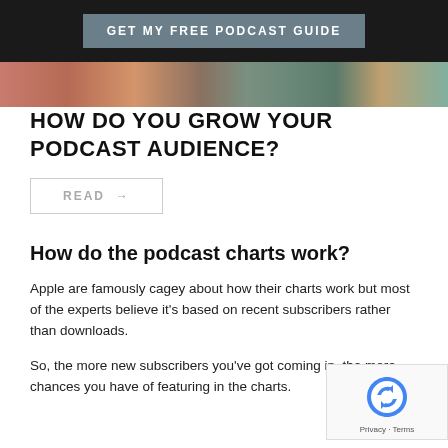GET MY FREE PODCAST GUIDE
[Figure (photo): Cropped photo strip showing people, partially visible]
HOW DO YOU GROW YOUR PODCAST AUDIENCE?
READ →
How do the podcast charts work?
Apple are famously cagey about how their charts work but most of the experts believe it's based on recent subscribers rather than downloads.
So, the more new subscribers you've got coming in, the more chances you have of featuring in the charts.